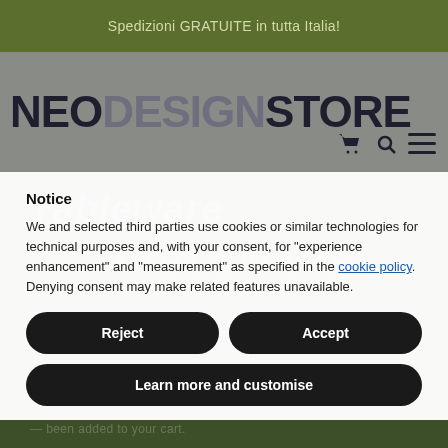Spedizioni GRATUITE in tutta Italia!
[Figure (logo): NeoDesignStore logo with shopping cart, search, and menu icons]
[Figure (screenshot): Website background showing Tableware category page with dark green background and watermark text TABLEWARE]
Notice
We and selected third parties use cookies or similar technologies for technical purposes and, with your consent, for "experience enhancement" and "measurement" as specified in the cookie policy. Denying consent may make related features unavailable.
Reject
Accept
Learn more and customise